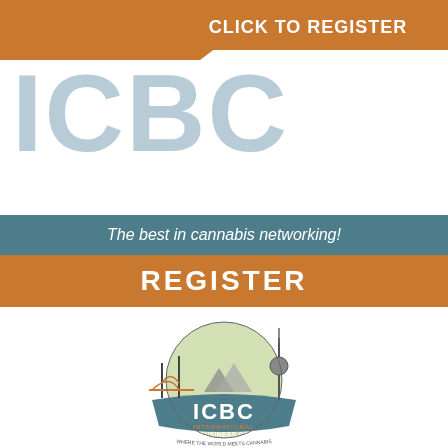[Figure (other): Orange triangle shape in top-left corner with CLICK TO REGISTER banner]
CLICK TO REGISTER
ICBC
The best in cannabis networking!
REGISTER
[Figure (logo): ICBC International Cannabis Business Conference logo with globe, Golden Gate Bridge, Berlin TV Tower, and tagline WHERE THE WORLD MEETS CANNABIS]